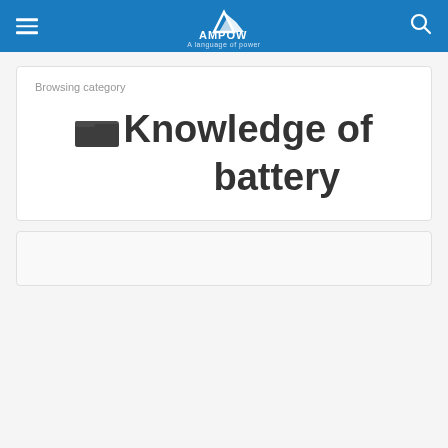AMPOW — A language of power
Browsing category
Knowledge of battery
[Figure (other): Partial card at bottom of page, content not visible]